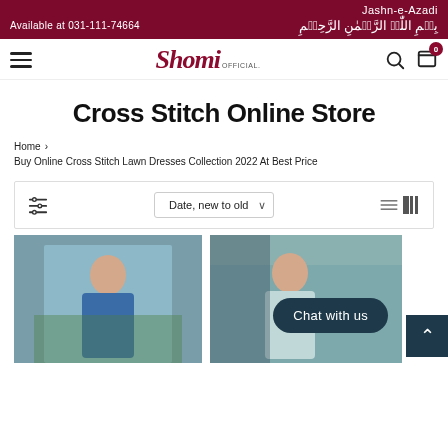Jashn-e-Azadi | Available at 031-111-74664 | بِسۡمِ اللّٰہِ الرَّحۡمٰنِ الرَّحِیۡمِ
[Figure (logo): Shomi OFFICIAL logo in dark red/maroon serif italic font]
Cross Stitch Online Store
Home › Buy Online Cross Stitch Lawn Dresses Collection 2022 At Best Price
Date, new to old (sort dropdown with filter and view toggle icons)
[Figure (photo): Woman in blue outfit against green background]
[Figure (photo): Woman in light teal outfit near a doorway]
Chat with us